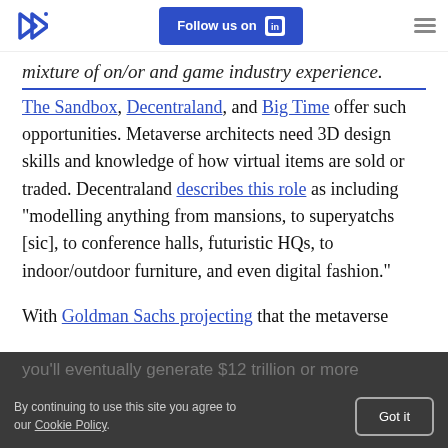Follow us on LinkedIn
mixture of on/or and game industry experience.
The Sandbox, Decentraland, and Big Time offer such opportunities. Metaverse architects need 3D design skills and knowledge of how virtual items are sold or traded. Decentraland describes this role as including “modelling anything from mansions, to superyatchs [sic], to conference halls, futuristic HQs, to indoor/outdoor furniture, and even digital fashion.”
With Goldman Sachs projecting that the metaverse
By continuing to use this site you agree to our Cookie Policy.